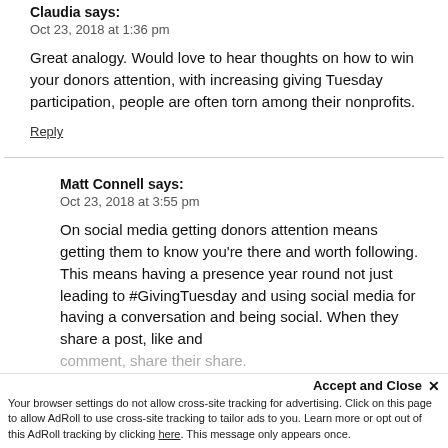Claudia says:
Oct 23, 2018 at 1:36 pm
Great analogy. Would love to hear thoughts on how to win your donors attention, with increasing giving Tuesday participation, people are often torn among their nonprofits.
Reply
Matt Connell says:
Oct 23, 2018 at 3:55 pm
On social media getting donors attention means getting them to know you're there and worth following. This means having a presence year round not just leading to #GivingTuesday and using social media for having a conversation and being social. When they share a post, like and comment, share their share.
Accept and Close ×
Your browser settings do not allow cross-site tracking for advertising. Click on this page to allow AdRoll to use cross-site tracking to tailor ads to you. Learn more or opt out of this AdRoll tracking by clicking here. This message only appears once.